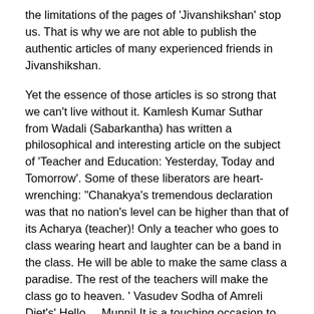the limitations of the pages of 'Jivanshikshan' stop us. That is why we are not able to publish the authentic articles of many experienced friends in Jivanshikshan.
Yet the essence of those articles is so strong that we can't live without it. Kamlesh Kumar Suthar from Wadali (Sabarkantha) has written a philosophical and interesting article on the subject of 'Teacher and Education: Yesterday, Today and Tomorrow'. Some of these liberators are heart-wrenching: "Chanakya's tremendous declaration was that no nation's level can be higher than that of its Acharya (teacher)! Only a teacher who goes to class wearing heart and laughter can be a band in the class. He will be able to make the same class a paradise. The rest of the teachers will make the class go to heaven. ' Vasudev Sodha of Amreli Diet's' Hello ... Munni! It is a touching occasion to see Balmanas. If it is published in a magazine like 'Balamurti', it is a powerful article that can be a great guide for parents who are keen on child